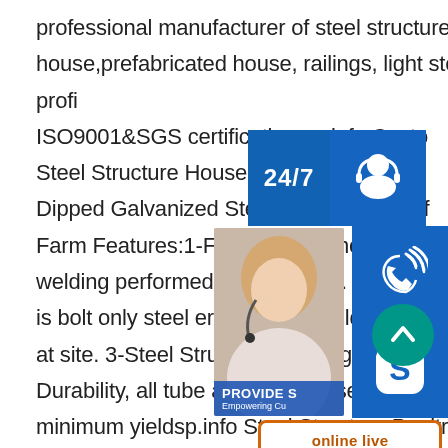professional manufacturer of steel structure building,container house,prefabricated house, railings, light steel villa, sandwich panel and profiled sheet. ISO9001&SGS certification.sp.info Custo Steel Structure House for Poultry Sep 27 Dipped Galvanized Steel chicken house f Farm Features:1-Faster, Smoother Build welding performed in the factory. 2-Cons is bolt only steel erection. No welding on at site. 3-Steel Structure Framing for Str Durability, all tube and purlin base material has a minimum yieldsp.info Steel Structure Poultry Hou Ibeehive Technology Co China Steel Structure Poultry House catalog of Prefab Light Steel Structure Poultry Farm Broiler Chicken House Poultry House, Poultry
[Figure (infographic): Customer support widget overlay with 24/7 badge, headset icon, phone icon, Skype icon, support person photo with PROVIDE Empowering Customers label, online live button, and teal up-arrow scroll button]